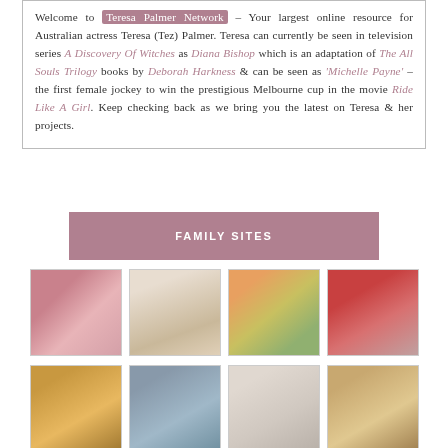Welcome to Teresa Palmer Network – Your largest online resource for Australian actress Teresa (Tez) Palmer. Teresa can currently be seen in television series A Discovery Of Witches as Diana Bishop which is an adaptation of The All Souls Trilogy books by Deborah Harkness & can be seen as 'Michelle Payne' – the first female jockey to win the prestigious Melbourne cup in the movie Ride Like A Girl. Keep checking back as we bring you the latest on Teresa & her projects.
FAMILY SITES
[Figure (photo): Grid of 8 celebrity/actress portrait photos arranged in 2 rows of 4]